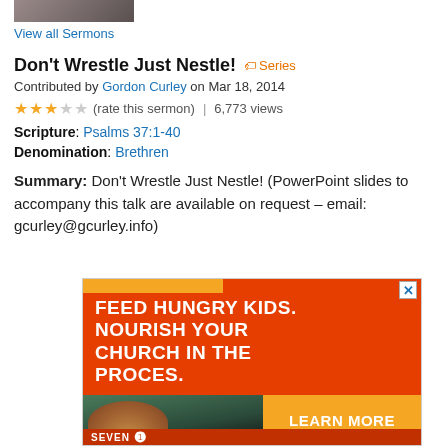[Figure (photo): Partial photo of a person at the top of the page]
View all Sermons
Don't Wrestle Just Nestle!  ● Series
Contributed by Gordon Curley on Mar 18, 2014
★★★☆☆ (rate this sermon) | 6,773 views
Scripture: Psalms 37:1-40
Denomination: Brethren
Summary: Don't Wrestle Just Nestle! (PowerPoint slides to accompany this talk are available on request – email: gcurley@gcurley.info)
[Figure (illustration): Advertisement: FEED HUNGRY KIDS. NOURISH YOUR CHURCH IN THE PROCES. with LEARN MORE button and photo of children]